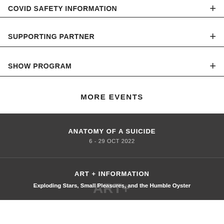COVID SAFETY INFORMATION
SUPPORTING PARTNER
SHOW PROGRAM
MORE EVENTS
[Figure (photo): Dark overlay event card showing 'ANATOMY OF A SUICIDE' with date '6 - 29 OCT 2022']
[Figure (photo): Dark event card showing 'ART + INFORMATION' with subtitle 'Exploding Stars, Small Pleasures, and the Humble Oyster']